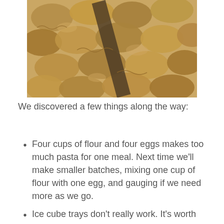[Figure (photo): Close-up photo of uncooked homemade ravioli pasta pieces piled together, showing golden/brown dough with crimped edges.]
We discovered a few things along the way:
Four cups of flour and four eggs makes too much pasta for one meal. Next time we'll make smaller batches, mixing one cup of flour with one egg, and gauging if we need more as we go.
Ice cube trays don't really work. It's worth investing in a real ravioli maker (tray) or a stamp, or at least a cutter. The seams between our raviolis weren't wide enough, so a lot of them emptied out when boiled.  Moistening